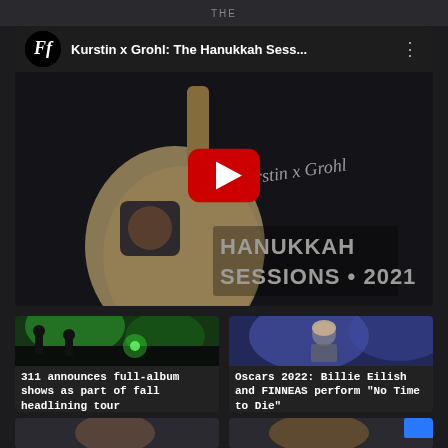THE
[Figure (screenshot): YouTube video player showing 'Kurstin x Grohl: The Hanukkah Sess...' with red play button over a dreidel thumbnail and Hanukkah Sessions 2021 branding]
Kurstin x Grohl: The Hanukkah Sess...
[Figure (screenshot): Thumbnail of 311 band performing live with green stage lighting]
311 announces full-album shows as part of fall headlining tour
[Figure (screenshot): Thumbnail of Billie Eilish performing at Oscars 2022]
Oscars 2022: Billie Eilish and FINNEAS perform "No Time to Die"
[Figure (screenshot): Two more article thumbnails partially visible at bottom of page]